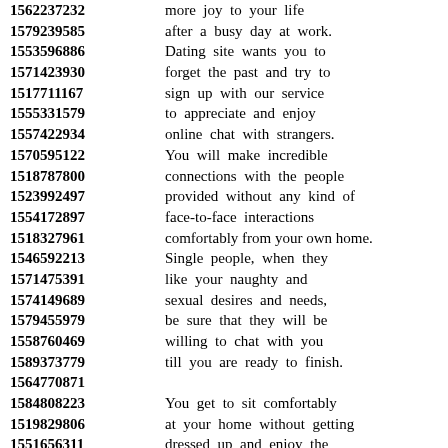1562237232 more joy to your life
1579239585 after a busy day at work.
1553596886 Dating site wants you to
1571423930 forget the past and try to
1517711167 sign up with our service
1555331579 to appreciate and enjoy
1557422934 online chat with strangers.
1570595122 You will make incredible
1518787800 connections with the people
1523992497 provided without any kind of
1554172897 face-to-face interactions
1518327961 comfortably from your own home.
1546592213 Single people, when they
1571475391 like your naughty and
1574149689 sexual desires and needs,
1579455979 be sure that they will be
1558760469 willing to chat with you
1589373779 till you are ready to finish.
1564770871
1584808223 You get to sit comfortably
1519829806 at your home without getting
1551656311 dressed up and enjoy the
1579848248 perks that come with it,
1598424402 texting girl dating with phone.
1524385132 All you have to do is present